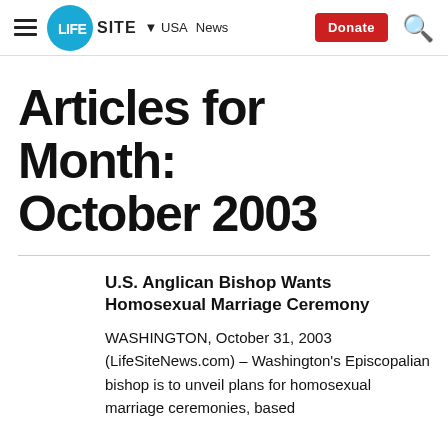≡ LIFESITE ▾ USA News Donate 🔍
Articles for Month: October 2003
U.S. Anglican Bishop Wants Homosexual Marriage Ceremony
WASHINGTON, October 31, 2003 (LifeSiteNews.com) – Washington's Episcopalian bishop is to unveil plans for homosexual marriage ceremonies, based